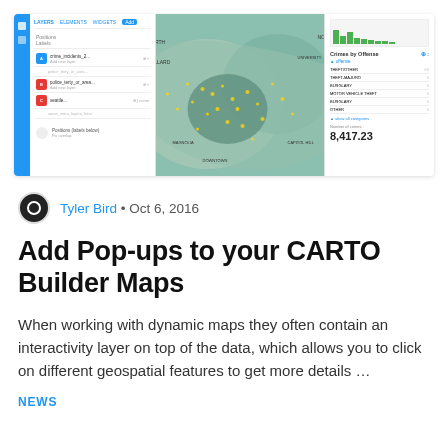[Figure (screenshot): Screenshot of CARTO Builder map interface showing a left panel with layers, a center map panel with geographic data points, and a right statistics panel showing crimes by offense with number 8,417.23]
Tyler Bird • Oct 6, 2016
Add Pop-ups to your CARTO Builder Maps
When working with dynamic maps they often contain an interactivity layer on top of the data, which allows you to click on different geospatial features to get more details …
NEWS